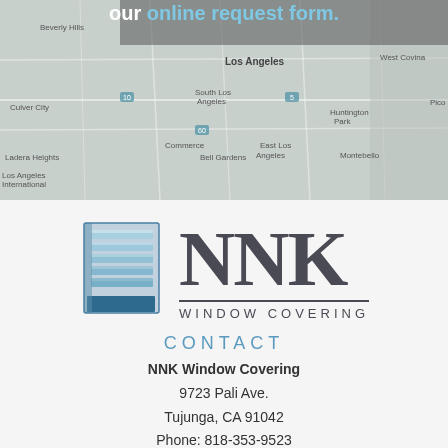[Figure (map): Google Maps screenshot showing Los Angeles area including cities like Los Angeles, Huntington Park, Pico Rivera, Whittier, El Monte, West Covina, Monterey Park, East Los Angeles, Montebello, Hacienda Heights. Overlay text reads 'our online request form.']
[Figure (logo): NNK Window Covering logo with blue window blind icon on left and NNK text in large serif font with WINDOW COVERING below in uppercase spaced letters]
CONTACT
NNK Window Covering
9723 Pali Ave.
Tujunga, CA 91042
Phone: 818-353-9523